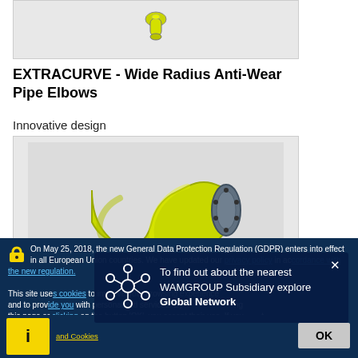[Figure (photo): Small yellow pipe elbow component viewed from above, on light grey background]
EXTRACURVE - Wide Radius Anti-Wear Pipe Elbows
Innovative design
[Figure (photo): Yellow wide-radius anti-wear pipe elbow with flanged end, 3D render on grey background]
On May 25, 2018, the new General Data Protection Regulation (GDPR) enters into effect in all European Union countries. We have updated our privacy policy in accordance with the new regulation.
This site uses cookies to improve your browsing experience and to provide you with personalized services. By continuing to use this page or clicking on the button 'OK', you accept their use. If you want to learn more or opt out of all or some, refer to the section - Privacy Policy and Cookies
To find out about the nearest WAMGROUP Subsidiary explore Global Network